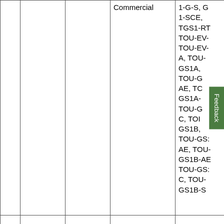|  |  |  | Commercial | 1-G-S, G 1-SCE, TGS1-RT TOU-EV- TOU-EV- A, TOU-GS1A, TOU-GS1AE, TOU-GS1A- TOU-GS1B-C, TOU-GS1B, TOU-GS1B-AE, TOU-GS1B-AE TOU-GS1B-C, TOU-GS1B-S |
|  |  |  |  |  |